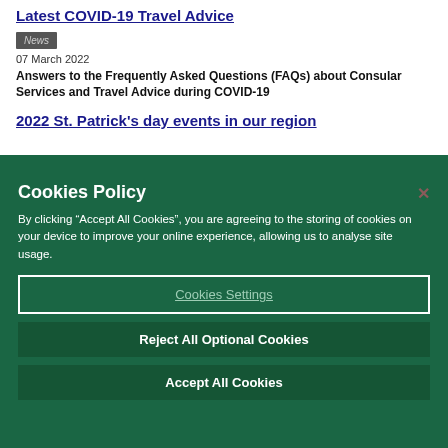Latest COVID-19 Travel Advice
News
07 March 2022
Answers to the Frequently Asked Questions (FAQs) about Consular Services and Travel Advice during COVID-19
2022 St. Patrick's day events in our region
Cookies Policy
By clicking “Accept All Cookies”, you are agreeing to the storing of cookies on your device to improve your online experience, allowing us to analyse site usage.
Cookies Settings
Reject All Optional Cookies
Accept All Cookies